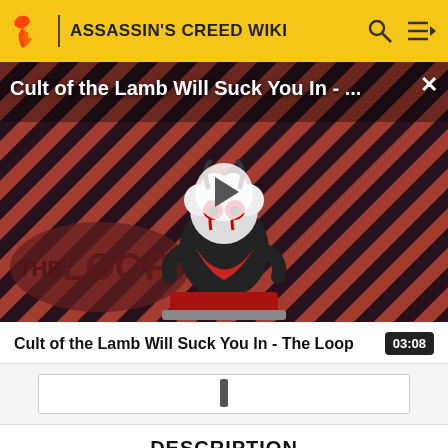ASSASSIN'S CREED WIKI
[Figure (screenshot): Video thumbnail for 'Cult of the Lamb Will Suck You In - The Loop' showing a cartoon lamb character with red eyes on a red/dark striped background with 'THE LOOP' text overlay and a play button]
Cult of the Lamb Will Suck You In - The Loop
03:08
[Figure (screenshot): Video progress/scrubber bar with a position indicator roughly in the middle]
DESCRIPTION